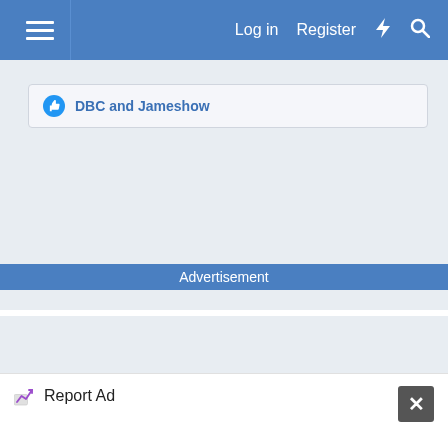Log in  Register
DBC and Jameshow
Advertisement
[Figure (other): Empty advertisement placeholder area with light gray background]
Report Ad